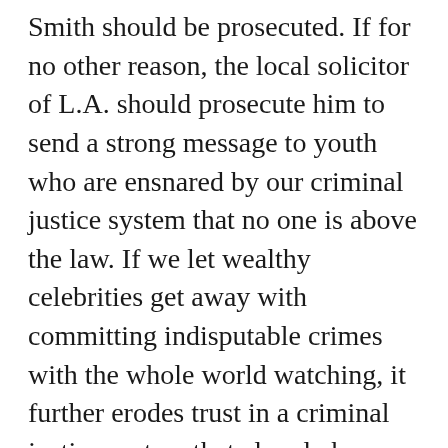Smith should be prosecuted. If for no other reason, the local solicitor of L.A. should prosecute him to send a strong message to youth who are ensnared by our criminal justice system that no one is above the law. If we let wealthy celebrities get away with committing indisputable crimes with the whole world watching, it further erodes trust in a criminal justice system that already has credibility issues.
The vulgarity that Smith used knowing that his language would be picked up around the world, notwithstanding America's phony censorship of it, showed he was completely out of control psychologically. It was painful to watch